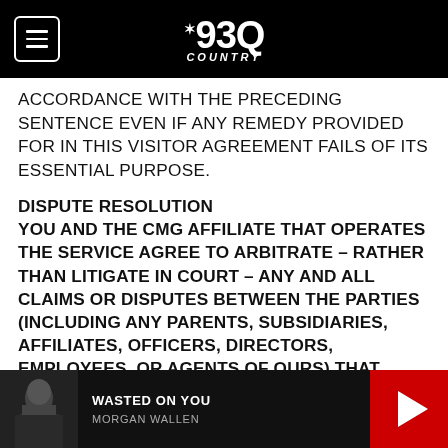93Q Country - navigation header
ACCORDANCE WITH THE PRECEDING SENTENCE EVEN IF ANY REMEDY PROVIDED FOR IN THIS VISITOR AGREEMENT FAILS OF ITS ESSENTIAL PURPOSE.
DISPUTE RESOLUTION
YOU AND THE CMG AFFILIATE THAT OPERATES THE SERVICE AGREE TO ARBITRATE – RATHER THAN LITIGATE IN COURT – ANY AND ALL CLAIMS OR DISPUTES BETWEEN THE PARTIES (INCLUDING ANY PARENTS, SUBSIDIARIES, AFFILIATES, OFFICERS, DIRECTORS, EMPLOYEES, OR AGENTS OF OURS) THAT ARISE OUT OF OR IN ANY WAY RELATE TO THIS SERVICE AND PRODUCTS OR
WASTED ON YOU - MORGAN WALLEN